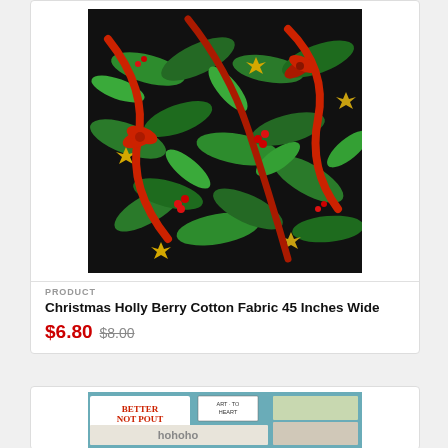[Figure (photo): Christmas holly berry cotton fabric on black background with green leaves, yellow poinsettias, red ribbons and berries]
PRODUCT
Christmas Holly Berry Cotton Fabric 45 Inches Wide
$6.80  $8.00
[Figure (photo): Book cover: Better Not Pout by Art to Heart, showing Christmas quilt patterns with hohoho text]